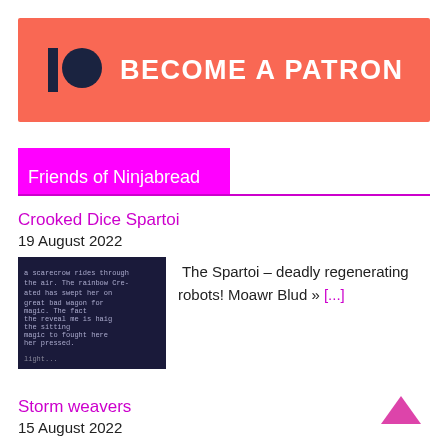[Figure (logo): Patreon 'Become a Patron' banner with orange-red background, Patreon logo (vertical bar and circle in dark navy), and white bold text 'BECOME A PATRON']
Friends of Ninjabread
Crooked Dice Spartoi
19 August 2022
[Figure (photo): Dark-themed thumbnail image with text overlay, appears to show a sci-fi/game content preview]
The Spartoi – deadly regenerating robots! Moawr Blud » [...]
Storm weavers
15 August 2022